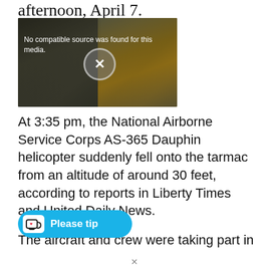afternoon, April 7.
[Figure (screenshot): Video player showing a helicopter on a tarmac, with overlay text 'No compatible source was found for this media.' and a large X button in the center.]
At 3:35 pm, the National Airborne Service Corps AS-365 Dauphin helicopter suddenly fell onto the tarmac from an altitude of around 30 feet, according to reports in Liberty Times and United Daily News.
The aircraft and crew were taking part in
[Figure (other): Ko-fi 'Please tip' button — cyan rounded rectangle with Ko-fi cup icon and white bold text 'Please tip']